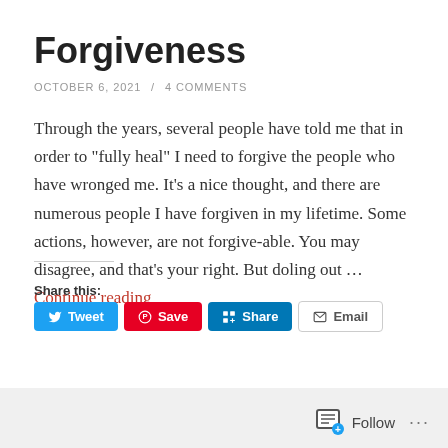Forgiveness
OCTOBER 6, 2021 / 4 COMMENTS
Through the years, several people have told me that in order to "fully heal" I need to forgive the people who have wronged me. It's a nice thought, and there are numerous people I have forgiven in my lifetime. Some actions, however, are not forgive-able. You may disagree, and that's your right. But doling out … Continue reading
Share this:
Tweet  Save  Share  Email
Follow